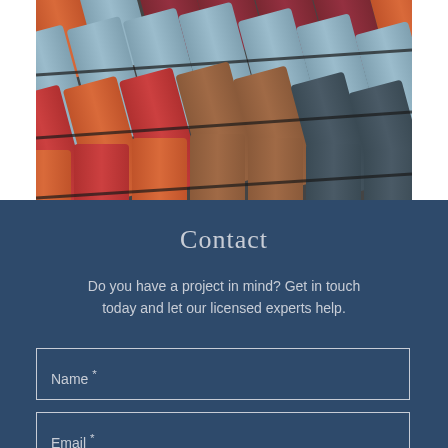[Figure (photo): Close-up photograph of overlapping roof tiles in various colors including terracotta/orange, light blue/grey, dark red/maroon, brown, and dark grey, arranged in diagonal rows]
Contact
Do you have a project in mind? Get in touch today and let our licensed experts help.
Name *
Email *